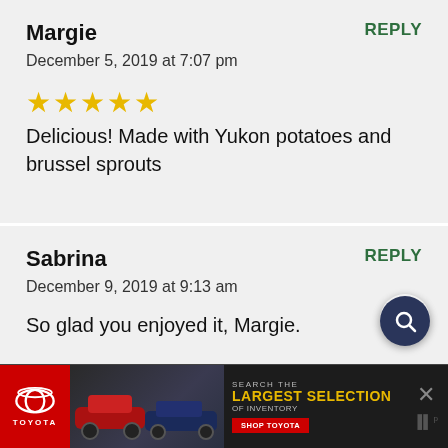Margie
REPLY
December 5, 2019 at 7:07 pm
★★★★★ Delicious! Made with Yukon potatoes and brussel sprouts
Sabrina
REPLY
December 9, 2019 at 9:13 am
So glad you enjoyed it, Margie.
[Figure (infographic): Toyota advertisement banner with Toyota logo, cars image, and text: SEARCH THE LARGEST SELECTION OF INVENTORY SHOP TOYOTA]